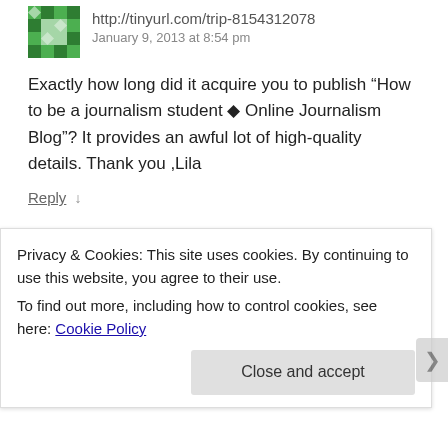http://tinyurl.com/trip-8154312078 — January 9, 2013 at 8:54 pm
Exactly how long did it acquire you to publish “How to be a journalism student ◆ Online Journalism Blog”? It provides an awful lot of high-quality details. Thank you ,Lila
Reply ↓
http://www.lewis-pipe.com/how-do-people-
Privacy & Cookies: This site uses cookies. By continuing to use this website, you agree to their use.
To find out more, including how to control cookies, see here: Cookie Policy
Close and accept